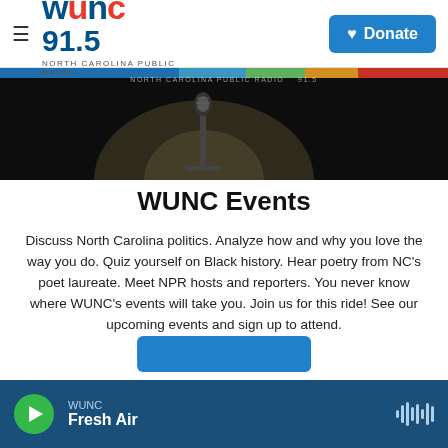WUNC 91.5 NORTH CAROLINA PUBLIC RADIO — Donate
[Figure (photo): Dark stage photo with a microphone stand illuminated under a spotlight, with WUNC 91.5 branding overlay and colorful header strip]
WUNC Events
Discuss North Carolina politics. Analyze how and why you love the way you do. Quiz yourself on Black history. Hear poetry from NC's poet laureate. Meet NPR hosts and reporters. You never know where WUNC's events will take you. Join us for this ride! See our upcoming events and sign up to attend.
WUNC Fresh Air